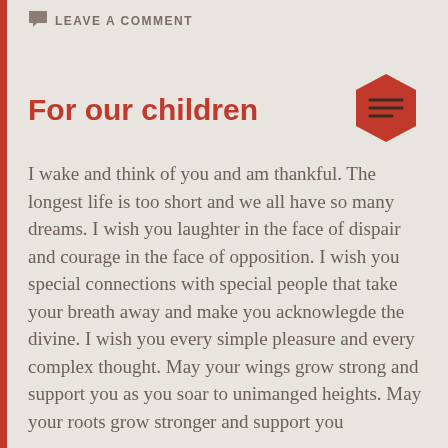LEAVE A COMMENT
For our children
I wake and think of you and am thankful. The longest life is too short and we all have so many dreams. I wish you laughter in the face of dispair and courage in the face of opposition. I wish you special connections with special people that take your breath away and make you acknowlegde the divine. I wish you every simple pleasure and every complex thought. May your wings grow strong and support you as you soar to unimanged heights. May your roots grow stronger and support you